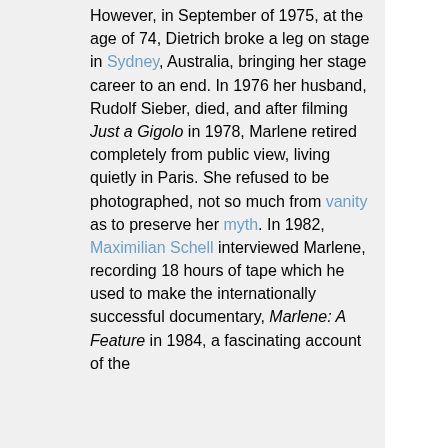However, in September of 1975, at the age of 74, Dietrich broke a leg on stage in Sydney, Australia, bringing her stage career to an end. In 1976 her husband, Rudolf Sieber, died, and after filming Just a Gigolo in 1978, Marlene retired completely from public view, living quietly in Paris. She refused to be photographed, not so much from vanity as to preserve her myth. In 1982, Maximilian Schell interviewed Marlene, recording 18 hours of tape which he used to make the internationally successful documentary, Marlene: A Feature in 1984, a fascinating account of the